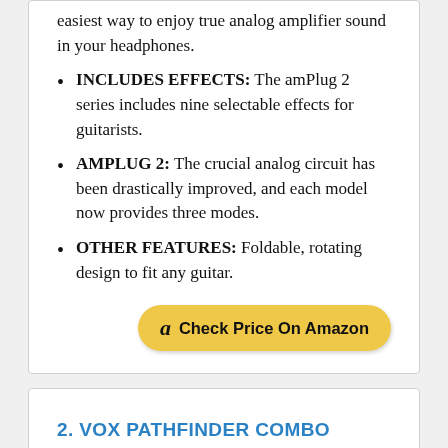easiest way to enjoy true analog amplifier sound in your headphones.
INCLUDES EFFECTS: The amPlug 2 series includes nine selectable effects for guitarists.
AMPLUG 2: The crucial analog circuit has been drastically improved, and each model now provides three modes.
OTHER FEATURES: Foldable, rotating design to fit any guitar.
Check Price On Amazon
2. VOX PATHFINDER COMBO